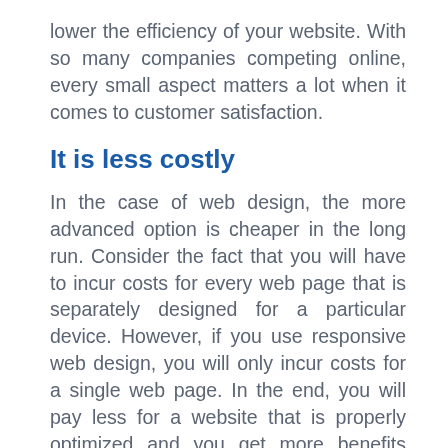lower the efficiency of your website. With so many companies competing online, every small aspect matters a lot when it comes to customer satisfaction.
It is less costly
In the case of web design, the more advanced option is cheaper in the long run. Consider the fact that you will have to incur costs for every web page that is separately designed for a particular device. However, if you use responsive web design, you will only incur costs for a single web page. In the end, you will pay less for a website that is properly optimized and you get more benefits overall.